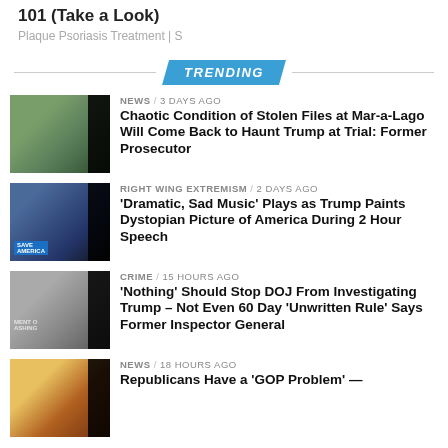101 (Take a Look)
Plaque Psoriasis Treatment | S
TRENDING
NEWS / 3 days ago — Chaotic Condition of Stolen Files at Mar-a-Lago Will Come Back to Haunt Trump at Trial: Former Prosecutor
RIGHT WING EXTREMISM / 2 days ago — 'Dramatic, Sad Music' Plays as Trump Paints Dystopian Picture of America During 2 Hour Speech
CRIME / 15 hours ago — 'Nothing' Should Stop DOJ From Investigating Trump – Not Even 60 Day 'Unwritten Rule' Says Former Inspector General
NEWS / 18 hours ago — Republicans Have a 'GOP Problem' —